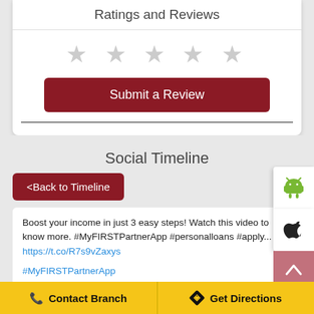Ratings and Reviews
[Figure (other): Five empty star rating icons in light gray]
[Figure (other): Submit a Review button (dark red)]
Social Timeline
[Figure (other): Back to Timeline button (dark red)]
[Figure (other): Android robot icon in green on white card]
[Figure (other): Apple logo icon on white card]
[Figure (other): Scroll to top chevron button (pink/red)]
Boost your income in just 3 easy steps! Watch this video to know more. #MyFIRSTPartnerApp #personalloans #apply... https://t.co/R7s9vZaxys
#MyFIRSTPartnerApp
Contact Branch | Get Directions